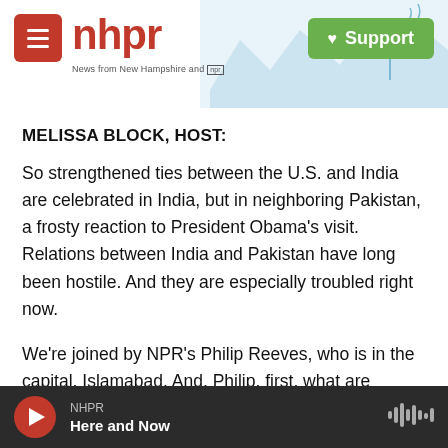[Figure (logo): NHPR (New Hampshire Public Radio) website header with red hamburger menu button, NHPR logo in red, mountain/antenna skyline illustration, and green Support button with heart icon]
MELISSA BLOCK, HOST:
So strengthened ties between the U.S. and India are celebrated in India, but in neighboring Pakistan, a frosty reaction to President Obama's visit. Relations between India and Pakistan have long been hostile. And they are especially troubled right now.
We're joined by NPR's Philip Reeves, who is in the capital, Islamabad. And, Philip, first, what are
[Figure (screenshot): Audio player bar at bottom showing NHPR Here and Now with red play button and waveform icon]